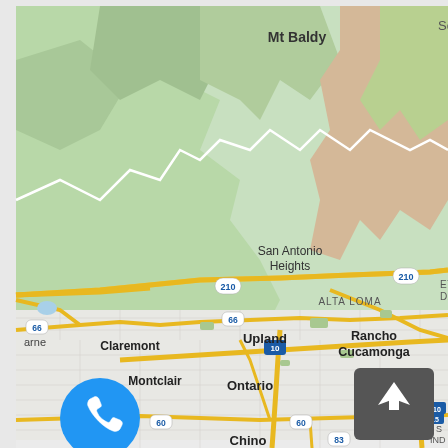[Figure (map): Google Maps screenshot showing the Inland Empire area of Southern California including Mt Baldy, San Antonio Heights, Alta Loma, Rancho Cucamonga, Upland, Claremont, Montclair, Ontario, Pomona, Chino, and surrounding areas. Freeways 210, 66, 10, 60, 83, 15 are visible. A blue phone call button is in the lower left, and a dark navigation arrow button is in the lower right.]